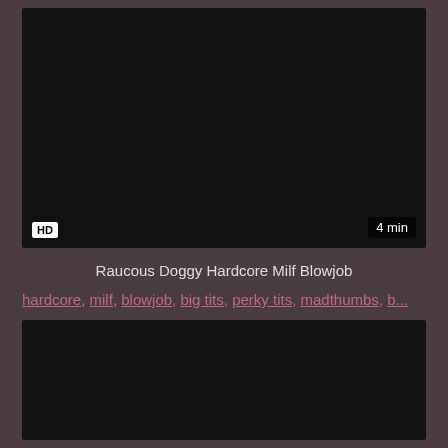[Figure (screenshot): Dark video thumbnail, top portion, with HD badge bottom-left and 4 min duration badge bottom-right]
Raucous Doggy Hardcore Milf Blowjob
hardcore, milf, blowjob, big tits, perky tits, madthumbs, b...
[Figure (screenshot): Dark video thumbnail, bottom portion]